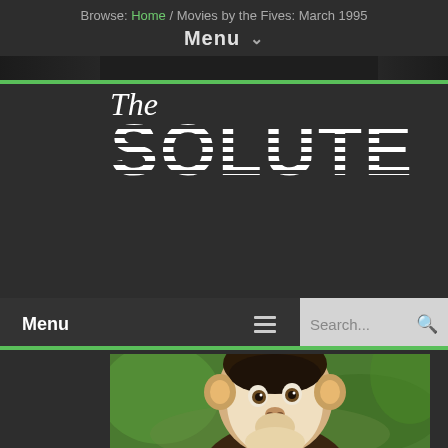Browse: Home / Movies by the Fives: March 1995
Menu ∨
The SOLUTE
Menu ≡ Search...
[Figure (photo): Close-up photo of a white-faced capuchin monkey looking upward with a curious expression, against a blurred green background]